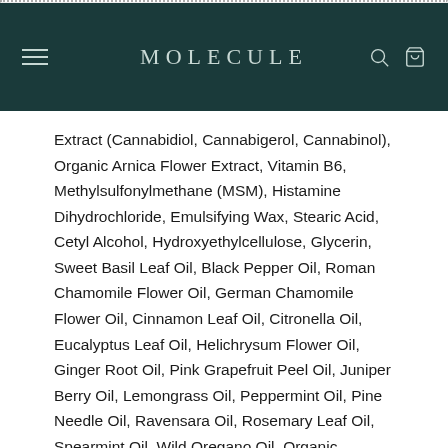MOLECULE
Extract (Cannabidiol, Cannabigerol, Cannabinol), Organic Arnica Flower Extract, Vitamin B6, Methylsulfonylmethane (MSM), Histamine Dihydrochloride, Emulsifying Wax, Stearic Acid, Cetyl Alcohol, Hydroxyethylcellulose, Glycerin, Sweet Basil Leaf Oil, Black Pepper Oil, Roman Chamomile Flower Oil, German Chamomile Flower Oil, Cinnamon Leaf Oil, Citronella Oil, Eucalyptus Leaf Oil, Helichrysum Flower Oil, Ginger Root Oil, Pink Grapefruit Peel Oil, Juniper Berry Oil, Lemongrass Oil, Peppermint Oil, Pine Needle Oil, Ravensara Oil, Rosemary Leaf Oil, Spearmint Oil, Wild Oregano Oil, Organic Cypress Oil, Sweet Fennel Oil, Lemon Peel Oil, Lavender Flower Oil, Organic Alcohol, Phenoxyethanol, Caprylyl Glycol, and Sorbic Acid.